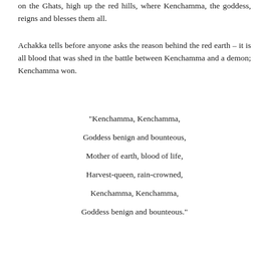on the Ghats, high up the red hills, where Kenchamma, the goddess, reigns and blesses them all.
Achakka tells before anyone asks the reason behind the red earth – it is all blood that was shed in the battle between Kenchamma and a demon; Kenchamma won.
“Kenchamma, Kenchamma,

Goddess benign and bounteous,

Mother of earth, blood of life,

Harvest-queen, rain-crowned,

Kenchamma, Kenchamma,

Goddess benign and bounteous.”